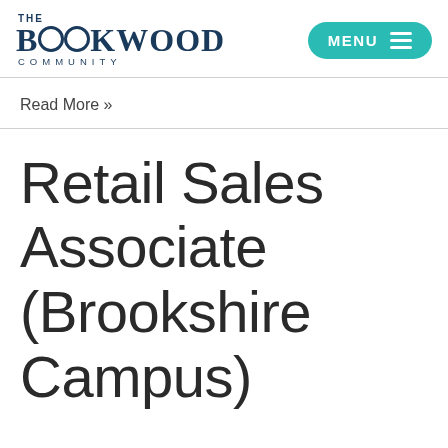THE BROOKWOOD COMMUNITY
Read More »
Retail Sales Associate (Brookshire Campus)